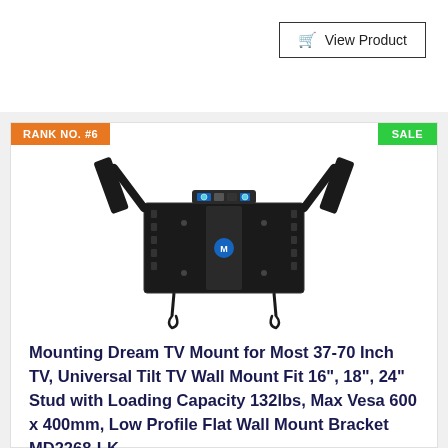View Product
RANK NO. #6
SALE
[Figure (photo): Black TV wall mount bracket with tilt mechanism, two mounting arms, and a built-in level on top. The bracket has a blue logo in the center and cable management hooks at the bottom.]
Mounting Dream TV Mount for Most 37-70 Inch TV, Universal Tilt TV Wall Mount Fit 16", 18", 24" Stud with Loading Capacity 132lbs, Max Vesa 600 x 400mm, Low Profile Flat Wall Mount Bracket MD2268-LK